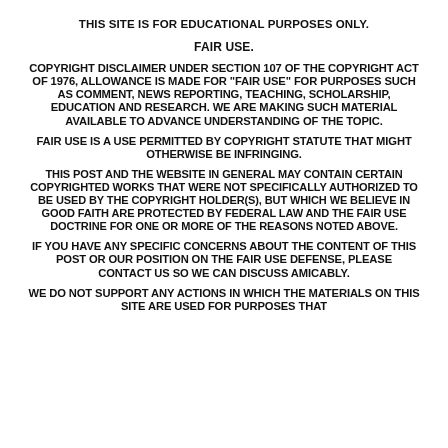THIS SITE IS FOR EDUCATIONAL PURPOSES ONLY.
FAIR USE.
COPYRIGHT DISCLAIMER UNDER SECTION 107 OF THE COPYRIGHT ACT OF 1976, ALLOWANCE IS MADE FOR "FAIR USE" FOR PURPOSES SUCH AS COMMENT, NEWS REPORTING, TEACHING, SCHOLARSHIP, EDUCATION AND RESEARCH. WE ARE MAKING SUCH MATERIAL AVAILABLE TO ADVANCE UNDERSTANDING OF THE TOPIC.
FAIR USE IS A USE PERMITTED BY COPYRIGHT STATUTE THAT MIGHT OTHERWISE BE INFRINGING.
THIS POST AND THE WEBSITE IN GENERAL MAY CONTAIN CERTAIN COPYRIGHTED WORKS THAT WERE NOT SPECIFICALLY AUTHORIZED TO BE USED BY THE COPYRIGHT HOLDER(S), BUT WHICH WE BELIEVE IN GOOD FAITH ARE PROTECTED BY FEDERAL LAW AND THE FAIR USE DOCTRINE FOR ONE OR MORE OF THE REASONS NOTED ABOVE.
IF YOU HAVE ANY SPECIFIC CONCERNS ABOUT THE CONTENT OF THIS POST OR OUR POSITION ON THE FAIR USE DEFENSE, PLEASE CONTACT US SO WE CAN DISCUSS AMICABLY.
WE DO NOT SUPPORT ANY ACTIONS IN WHICH THE MATERIALS ON THIS SITE ARE USED FOR PURPOSES THAT